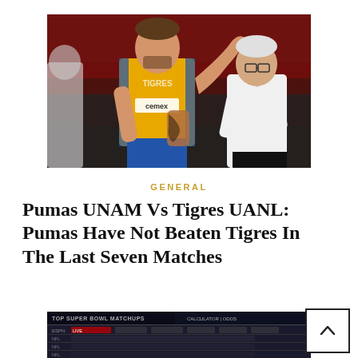[Figure (photo): Soccer player in yellow/gold Tigres UANL jersey gesturing with hand raised, facing an older man in a white polo shirt, appearing to have a conversation on the field]
GENERAL
Pumas UNAM Vs Tigres UANL: Pumas Have Not Beaten Tigres In The Last Seven Matches
[Figure (screenshot): Partially visible screenshot showing a sports scoreboard or betting table with text 'TOP SUPER BOWL MATCHUPS' visible at top left]